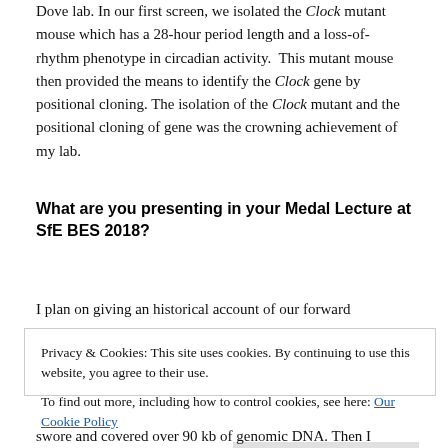Dove lab. In our first screen, we isolated the Clock mutant mouse which has a 28-hour period length and a loss-of-rhythm phenotype in circadian activity. This mutant mouse then provided the means to identify the Clock gene by positional cloning. The isolation of the Clock mutant and the positional cloning of gene was the crowning achievement of my lab.
What are you presenting in your Medal Lecture at SfE BES 2018?
I plan on giving an historical account of our forward
Privacy & Cookies: This site uses cookies. By continuing to use this website, you agree to their use.
To find out more, including how to control cookies, see here: Our Cookie Policy
swore and covered over 90 kb of genomic DNA. Then I